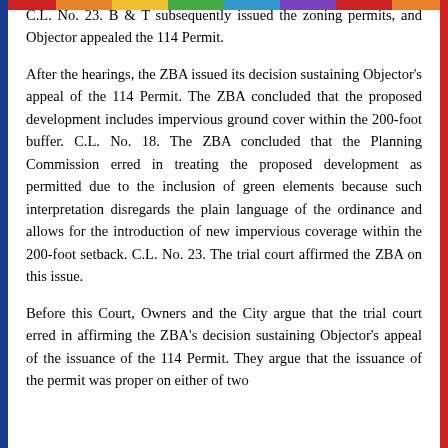C.L. No. 23. B & T subsequently issued the zoning permits, and Objector appealed the 114 Permit.
After the hearings, the ZBA issued its decision sustaining Objector's appeal of the 114 Permit. The ZBA concluded that the proposed development includes impervious ground cover within the 200-foot buffer. C.L. No. 18. The ZBA concluded that the Planning Commission erred in treating the proposed development as permitted due to the inclusion of green elements because such interpretation disregards the plain language of the ordinance and allows for the introduction of new impervious coverage within the 200-foot setback. C.L. No. 23. The trial court affirmed the ZBA on this issue.
Before this Court, Owners and the City argue that the trial court erred in affirming the ZBA's decision sustaining Objector's appeal of the issuance of the 114 Permit. They argue that the issuance of the permit was proper on either of two